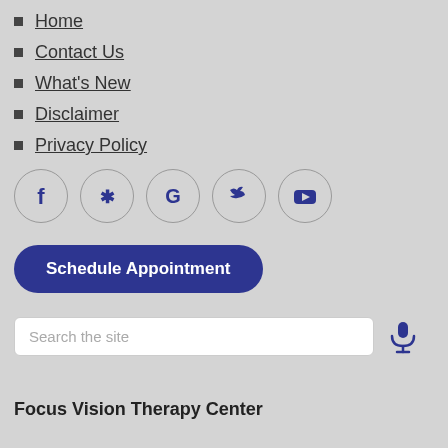Home
Contact Us
What's New
Disclaimer
Privacy Policy
[Figure (infographic): Social media icons in circles: Facebook, Yelp, Google, Twitter, YouTube]
Schedule Appointment
Search the site
Focus Vision Therapy Center